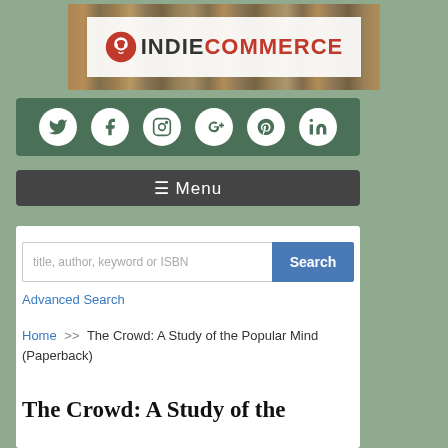[Figure (logo): IndieCommerce logo with bookshelf background, red circle icon with headphone/person symbol, text INDIE in dark and COMMERCE in red]
[Figure (infographic): Social media icon bar on green background: Twitter, Facebook, Instagram, Google+, Pinterest, LinkedIn icons as white circles]
[Figure (infographic): Dark grey menu bar with hamburger icon and Menu text]
title, author, keyword or ISBN
Advanced Search
Home >> The Crowd: A Study of the Popular Mind (Paperback)
The Crowd: A Study of the